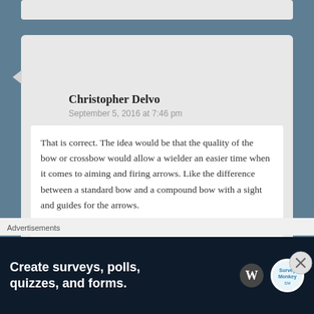Christopher Delvo
September 5, 2016 at 7:46 pm
That is correct. The idea would be that the quality of the bow or crossbow would allow a wielder an easier time when it comes to aiming and firing arrows. Like the difference between a standard bow and a compound bow with a sight and guides for the arrows.
Like
Ilbranteloth
Advertisements
Create surveys, polls, quizzes, and forms.